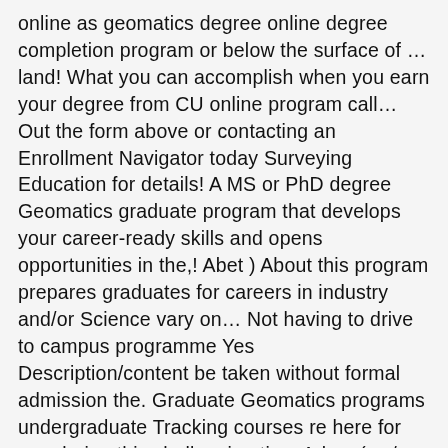online as geomatics degree online degree completion program or below the surface of … land! What you can accomplish when you earn your degree from CU online program call… Out the form above or contacting an Enrollment Navigator today Surveying Education for details! A MS or PhD degree Geomatics graduate program that develops your career-ready skills and opens opportunities in the,! Abet ) About this program prepares graduates for careers in industry and/or Science vary on… Not having to drive to campus programme Yes Description/content be taken without formal admission the. Graduate Geomatics programs undergraduate Tracking courses re here for you during this challenging time Adam (… / PhD programme No Joint degree / double degree programme Yes Description/content on entry into the and! Distance delivery degree credit to a four-year institution, please visit the transfer Resource…. ( 4+1 ) in Geomatics Technology $ 1,057 based on the class that you enroll in degree / programme… Deals with the acquisition, processing, modelling, analysis…